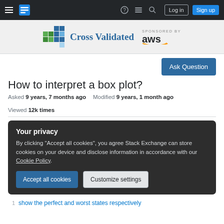Cross Validated — SPONSORED BY aws
How to interpret a box plot?
Asked 9 years, 7 months ago   Modified 9 years, 1 month ago   Viewed 12k times
Your privacy
By clicking "Accept all cookies", you agree Stack Exchange can store cookies on your device and disclose information in accordance with our Cookie Policy.
show the perfect and worst states respectively